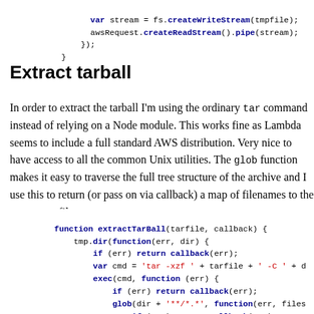var stream = fs.createWriteStream(tmpfile);
    awsRequest.createReadStream().pipe(stream);
    });
}
Extract tarball
In order to extract the tarball I'm using the ordinary tar command instead of relying on a Node module. This works fine as Lambda seems to include a full standard AWS distribution. Very nice to have access to all the common Unix utilities. The glob function makes it easy to traverse the full tree structure of the archive and I use this to return (or pass on via callback) a map of filenames to the temporary files.
function extractTarBall(tarfile, callback) {
    tmp.dir(function(err, dir) {
        if (err) return callback(err);
        var cmd = 'tar -xzf ' + tarfile + ' -C ' + d
        exec(cmd, function (err) {
            if (err) return callback(err);
            glob(dir + '**/*.*', function(err, files
                if (err) return callback(err);
                var fs = files.map(function(file) {
                    return {